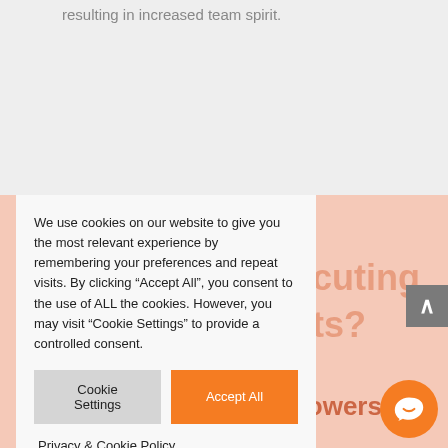resulting in increased team spirit.
We use cookies on our website to give you the most relevant experience by remembering your preferences and repeat visits. By clicking “Accept All”, you consent to the use of ALL the cookies. However, you may visit "Cookie Settings" to provide a controlled consent.
Cookie Settings | Accept All
Privacy & Cookie Policy
working and empowers the